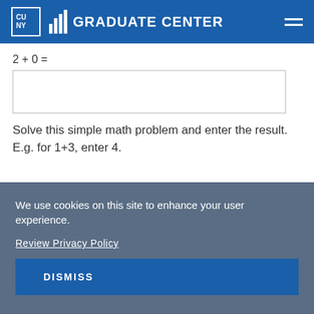CUNY Graduate Center
Solve this simple math problem and enter the result. E.g. for 1+3, enter 4.
SUBMIT
We use cookies on this site to enhance your user experience.
Review Privacy Policy
DISMISS